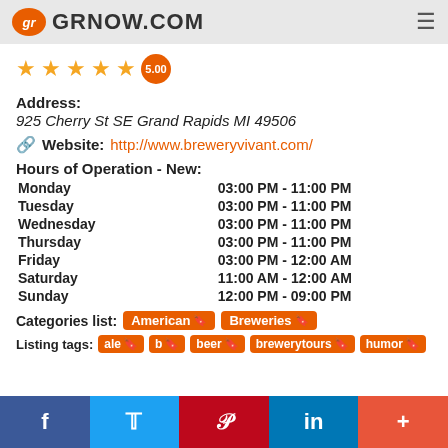gr GRNOW.COM
[Figure (other): 5-star rating with 5.00 score badge]
Address:
925 Cherry St SE Grand Rapids MI 49506
Website: http://www.breweryvivant.com/
Hours of Operation - New:
| Day | Hours |
| --- | --- |
| Monday | 03:00 PM - 11:00 PM |
| Tuesday | 03:00 PM - 11:00 PM |
| Wednesday | 03:00 PM - 11:00 PM |
| Thursday | 03:00 PM - 11:00 PM |
| Friday | 03:00 PM - 12:00 AM |
| Saturday | 11:00 AM - 12:00 AM |
| Sunday | 12:00 PM - 09:00 PM |
Categories list: American  Breweries
Listing tags: ale  b  beer  brewerytours  humor
f  Twitter  Pinterest  in  +